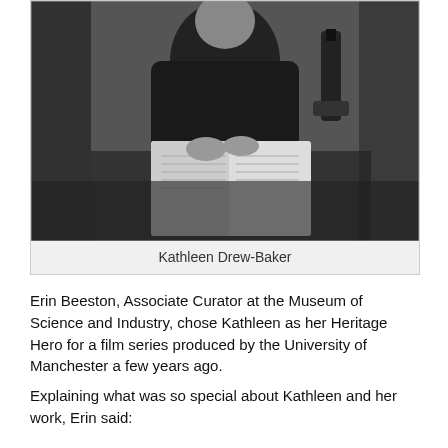[Figure (photo): Black and white photograph of Kathleen Drew-Baker seated at a desk with an open book or notebook, with what appears to be scientific equipment visible in the background.]
Kathleen Drew-Baker
Erin Beeston, Associate Curator at the Museum of Science and Industry, chose Kathleen as her Heritage Hero for a film series produced by the University of Manchester a few years ago.
Explaining what was so special about Kathleen and her work, Erin said: